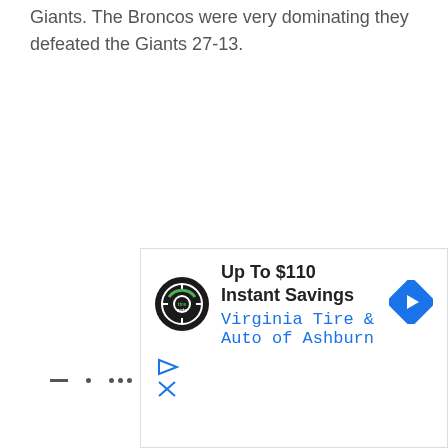Giants. The Broncos were very dominating they defeated the Giants 27-13.
[Figure (other): Advertisement banner for Virginia Tire & Auto of Ashburn offering Up To $110 Instant Savings, with logo and navigation arrow icon.]